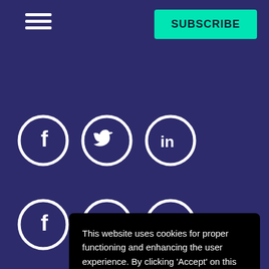≡  SUBSCRIBE
[Figure (illustration): Two rows of three social media icons (Facebook, Twitter, LinkedIn) as white circles on dark purple background]
Ackn…
We a… coun… conti… pay d… past, present and emerging.
This website uses cookies for proper functioning and enhancing the user experience. By clicking 'Accept' on this banner or using our site you accept our use of cookies. You can also 'Read More' to view our Cookie Policy and learn how to control them.  Read More
Accept